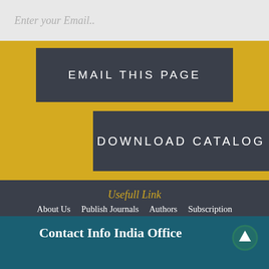Enter your Email..
EMAIL THIS PAGE
DOWNLOAD CATALOG
Usefull Link
About Us
Publish Journals
Authors
Subscription
Catalogues
Blog
Directory
Advertise
Library Service
Contact Us
FAQ's
Contact Info India Office